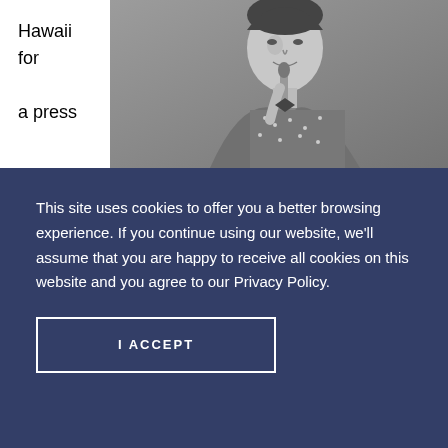Hawaii for a press
[Figure (photo): Black and white photograph of a man in a sequined or sparkly jacket holding a microphone, performing on stage]
This site uses cookies to offer you a better browsing experience. If you continue using our website, we'll assume that you are happy to receive all cookies on this website and you agree to our Privacy Policy.
I ACCEPT